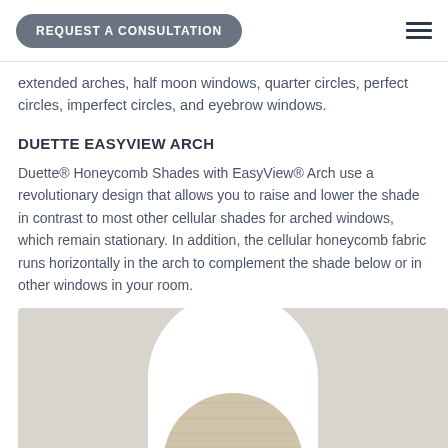REQUEST A CONSULTATION
extended arches, half moon windows, quarter circles, perfect circles, imperfect circles, and eyebrow windows.
DUETTE EASYVIEW ARCH
Duette® Honeycomb Shades with EasyView® Arch use a revolutionary design that allows you to raise and lower the shade in contrast to most other cellular shades for arched windows, which remain stationary. In addition, the cellular honeycomb fabric runs horizontally in the arch to complement the shade below or in other windows in your room.
[Figure (photo): An arched window with a honeycomb cellular shade installed, showing a half-moon arch shape with light-colored fabric against a white/grey wall background.]